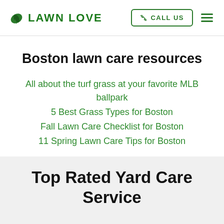LAWN LOVE | CALL US
Boston lawn care resources
All about the turf grass at your favorite MLB ballpark
5 Best Grass Types for Boston
Fall Lawn Care Checklist for Boston
11 Spring Lawn Care Tips for Boston
Top Rated Yard Care Service